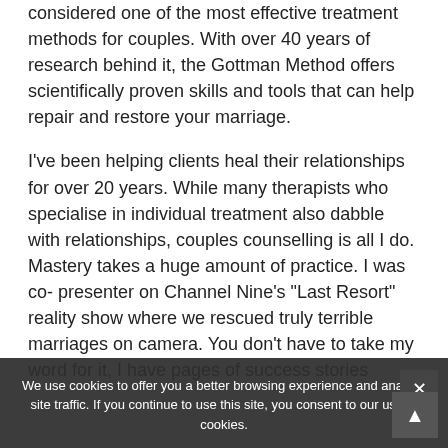considered one of the most effective treatment methods for couples. With over 40 years of research behind it, the Gottman Method offers scientifically proven skills and tools that can help repair and restore your marriage.
I've been helping clients heal their relationships for over 20 years. While many therapists who specialise in individual treatment also dabble with relationships, couples counselling is all I do. Mastery takes a huge amount of practice. I was co- presenter on Channel Nine's "Last Resort" reality show where we rescued truly terrible marriages on camera. You don't have to take my word for it, I have pages of success stories
We use cookies to offer you a better browsing experience and analyze site traffic. If you continue to use this site, you consent to our use of cookies.